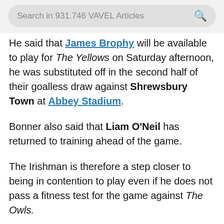Search in 931.746 VAVEL Articles
He said that James Brophy will be available to play for The Yellows on Saturday afternoon, he was substituted off in the second half of their goalless draw against Shrewsbury Town at Abbey Stadium.
Bonner also said that Liam O'Neil has returned to training ahead of the game.
The Irishman is therefore a step closer to being in contention to play even if he does not pass a fitness test for the game against The Owls.
Kai McKenzie-Lyle is also back on the grass, but is not expected to be available for this